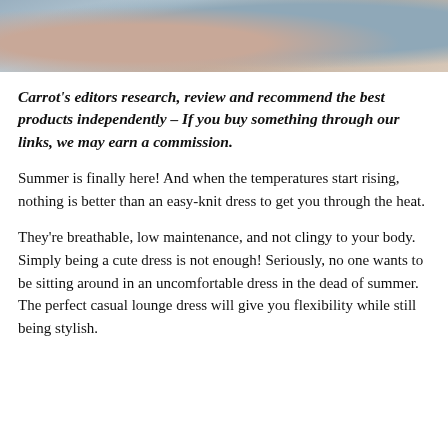[Figure (photo): Partial photo of a person reclining on a couch with blue-gray pillows, cropped at the top of the page showing arms and midsection]
Carrot's editors research, review and recommend the best products independently – If you buy something through our links, we may earn a commission.
Summer is finally here! And when the temperatures start rising, nothing is better than an easy-knit dress to get you through the heat.
They're breathable, low maintenance, and not clingy to your body. Simply being a cute dress is not enough! Seriously, no one wants to be sitting around in an uncomfortable dress in the dead of summer. The perfect casual lounge dress will give you flexibility while still being stylish.